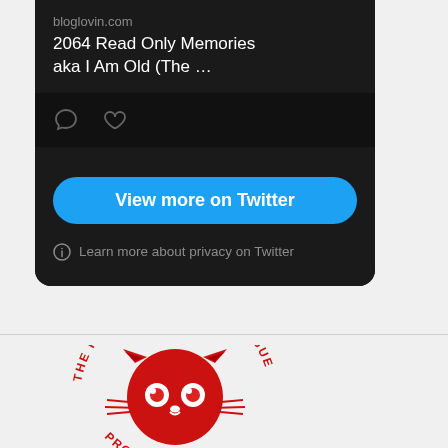[Figure (screenshot): Twitter embed card (dark theme) showing a bloglovin.com link titled '2064 Read Only Memories aka I Am Old (The …' with comment and like icons, a blue 'View more on Twitter' button, and a privacy notice. Below is a horizontal divider and the Internet Defense League 'Proud Member' badge with a red cat logo.]